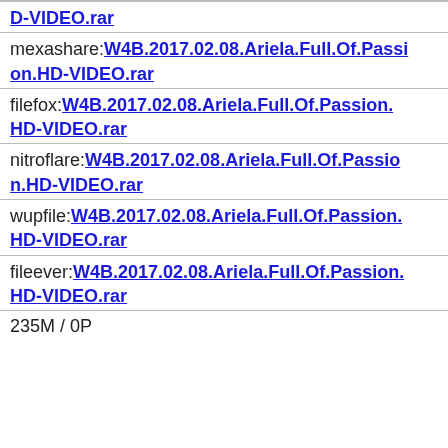D-VIDEO.rar
mexashare:W4B.2017.02.08.Ariela.Full.Of.Passion.HD-VIDEO.rar
filefox:W4B.2017.02.08.Ariela.Full.Of.Passion.HD-VIDEO.rar
nitroflare:W4B.2017.02.08.Ariela.Full.Of.Passion.HD-VIDEO.rar
wupfile:W4B.2017.02.08.Ariela.Full.Of.Passion.HD-VIDEO.rar
fileever:W4B.2017.02.08.Ariela.Full.Of.Passion.HD-VIDEO.rar
235M / 0P